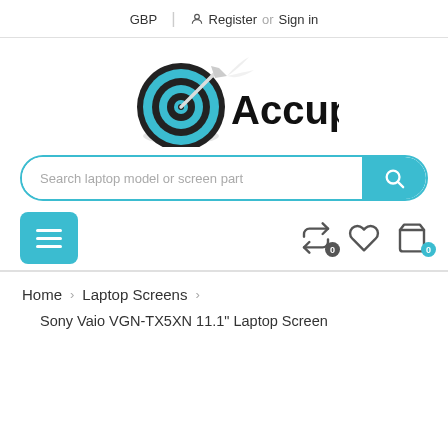GBP | Register or Sign in
[Figure (logo): Accupart logo with a target/bullseye icon in blue and black and the text 'Accupart' in bold black]
Search laptop model or screen part
≡  (hamburger menu button)   0 (compare)   ♡ (wishlist)   0 (cart)
Home › Laptop Screens ›
Sony Vaio VGN-TX5XN 11.1" Laptop Screen